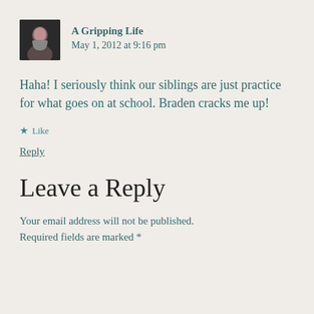[Figure (photo): Small square avatar photo of a woman with dark hair]
A Gripping Life
May 1, 2012 at 9:16 pm
Haha! I seriously think our siblings are just practice for what goes on at school. Braden cracks me up!
★ Like
Reply
Leave a Reply
Your email address will not be published. Required fields are marked *